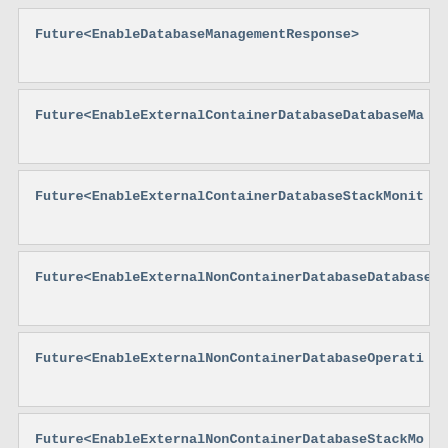Future<EnableDatabaseManagementResponse>
Future<EnableExternalContainerDatabaseDatabaseMa
Future<EnableExternalContainerDatabaseStackMonit
Future<EnableExternalNonContainerDatabaseDatabase
Future<EnableExternalNonContainerDatabaseOperati
Future<EnableExternalNonContainerDatabaseStackMo